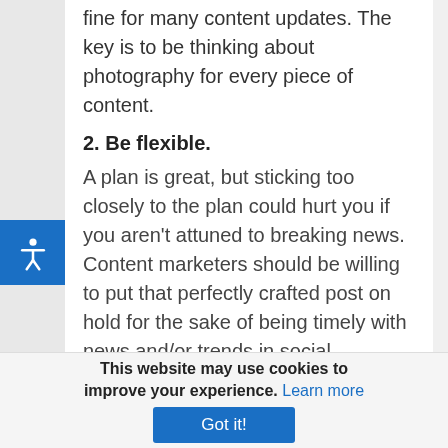fine for many content updates. The key is to be thinking about photography for every piece of content.
2. Be flexible.
A plan is great, but sticking too closely to the plan could hurt you if you aren't attuned to breaking news. Content marketers should be willing to put that perfectly crafted post on hold for the sake of being timely with news and/or trends in social conversation. Likewise, content marketers should be ready to jump on new opportunities at a moment's notice.
3. Don't forget to engage.
Your work isn't done once you have published your
This website may use cookies to improve your experience. Learn more Got it!